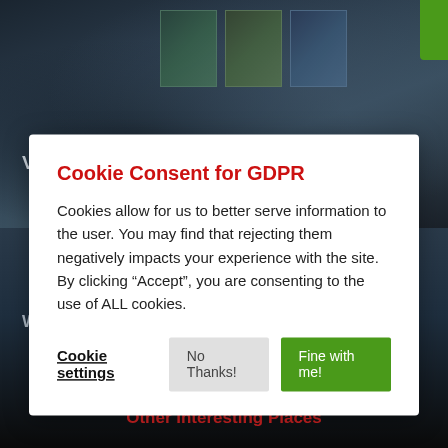[Figure (photo): Cockpit interior with multiple navigation screens and displays, dark lighting]
View our current deals! >
Cookie Consent for GDPR
Cookies allow for us to better serve information to the user. You may find that rejecting them negatively impacts your experience with the site. By clicking “Accept”, you are consenting to the use of ALL cookies.
Cookie settings   No Thanks!   Fine with me!
World’s ONLY Vulcan Bomber Simulator >
Other Interesting Places